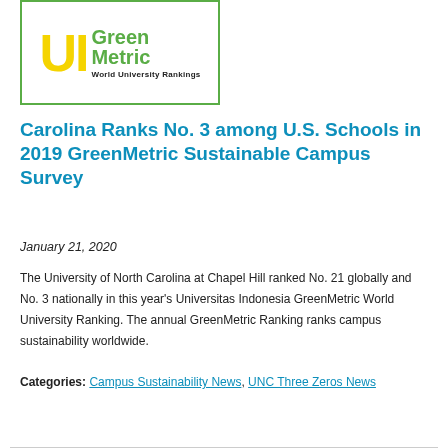[Figure (logo): UI GreenMetric World University Rankings logo — green border box with yellow 'UI' letters and green 'GreenMetric' text, subtitle 'World University Rankings']
Carolina Ranks No. 3 among U.S. Schools in 2019 GreenMetric Sustainable Campus Survey
January 21, 2020
The University of North Carolina at Chapel Hill ranked No. 21 globally and No. 3 nationally in this year's Universitas Indonesia GreenMetric World University Ranking. The annual GreenMetric Ranking ranks campus sustainability worldwide.
Categories: Campus Sustainability News, UNC Three Zeros News